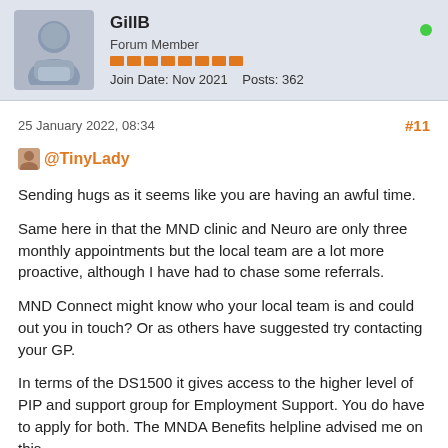GillB
Forum Member
Join Date: Nov 2021  Posts: 362
25 January 2022, 08:34
#11
@TinyLady
Sending hugs as it seems like you are having an awful time.
Same here in that the MND clinic and Neuro are only three monthly appointments but the local team are a lot more proactive, although I have had to chase some referrals.
MND Connect might know who your local team is and could out you in touch? Or as others have suggested try contacting your GP.
In terms of the DS1500 it gives access to the higher level of PIP and support group for Employment Support. You do have to apply for both. The MNDA Benefits helpline advised me on this.